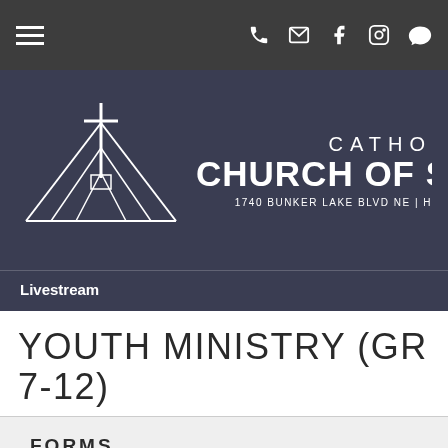≡  ☎  ✉  f  ◎  💬
[Figure (logo): Catholic Church of Saint (truncated) logo with geometric cross and triangular roof lines in white on dark blue background. Address: 1740 BUNKER LAKE BLVD NE | H...]
Livestream
YOUTH MINISTRY (GR 7-12)
FORMS
Parent Permission Form - For On-Site Day Event
Parent Permissi...
Mass Times & Directions